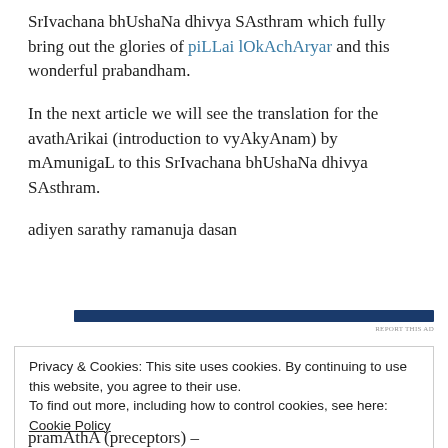SrIvachana bhUshaNa dhivya SAsthram which fully bring out the glories of piLLai lOkAchAryar and this wonderful prabandham.
In the next article we will see the translation for the avathArikai (introduction to vyAkyAnam) by mAmunigaL to this SrIvachana bhUshaNa dhivya SAsthram.
adiyen sarathy ramanuja dasan
[Figure (other): Dark blue horizontal advertisement bar with 'REPORT THIS AD' label in small caps to the right]
Privacy & Cookies: This site uses cookies. By continuing to use this website, you agree to their use.
To find out more, including how to control cookies, see here: Cookie Policy
pramAthA (preceptors) –